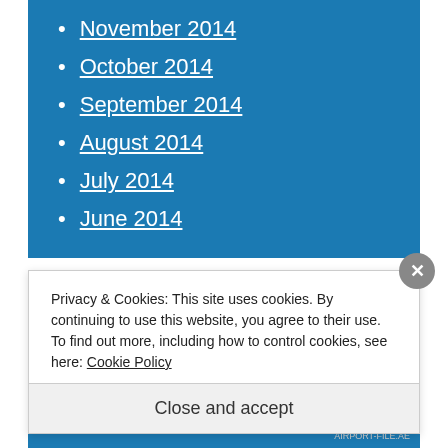November 2014
October 2014
September 2014
August 2014
July 2014
June 2014
Categories
Privacy & Cookies: This site uses cookies. By continuing to use this website, you agree to their use.
To find out more, including how to control cookies, see here: Cookie Policy
Close and accept